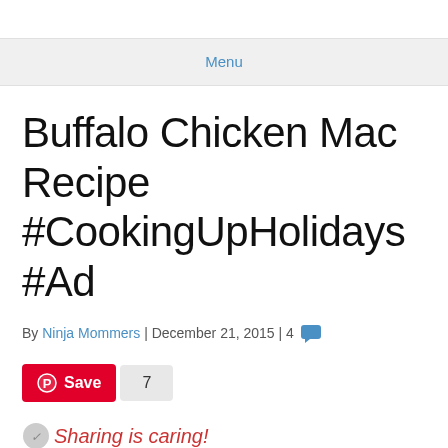Menu
Buffalo Chicken Mac Recipe #CookingUpHolidays #Ad
By Ninja Mommers | December 21, 2015 | 4
Save 7
Sharing is caring!